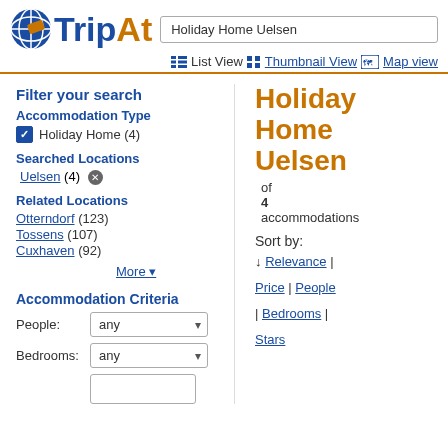[Figure (logo): TripAt logo with globe/travel icon in blue and orange]
Holiday Home Uelsen (search box)
List View | Thumbnail View | Map view
Filter your search
Accommodation Type
Holiday Home (4)
Searched Locations
Uelsen (4) ×
Related Locations
Otterndorf (123)
Tossens (107)
Cuxhaven (92)
More ▾
Accommodation Criteria
People: any
Bedrooms: any
Holiday Home Uelsen
1 of 4 4 accommodations
Sort by: ↓ Relevance | Price | People | Bedrooms | Stars